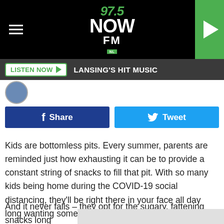[Figure (logo): 97.5 NOW FM radio station logo in green and white on black background with hamburger menu and play button]
LISTEN NOW   LANSING'S HIT MUSIC
[Figure (screenshot): Small circular avatar/profile image]
[Figure (infographic): Facebook Share button (blue) and Twitter Tweet button (cyan)]
Kids are bottomless pits. Every summer, parents are reminded just how exhausting it can be to provide a constant string of snacks to fill that pit. With so many kids being home during the COVID-19 social distancing, they'll be right there in your face all day long wanting something to eat.
And it never fails – they opt for the sugary, fattening snacks long be[obscured]diana [obscured]